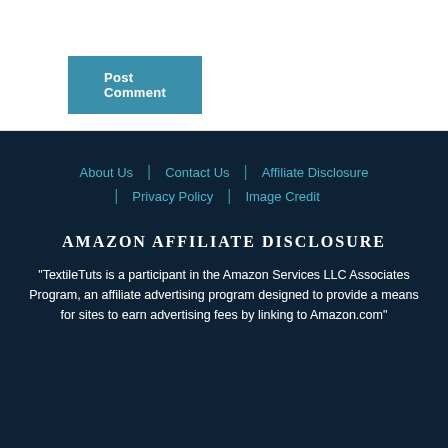Post Comment
About Us | Contact Us | Affiliate Disclosure | Privacy Policy | Image Credit
AMAZON AFFILIATE DISCLOSURE
“TextileTuts is a participant in the Amazon Services LLC Associates Program, an affiliate advertising program designed to provide a means for sites to earn advertising fees by linking to Amazon.com”